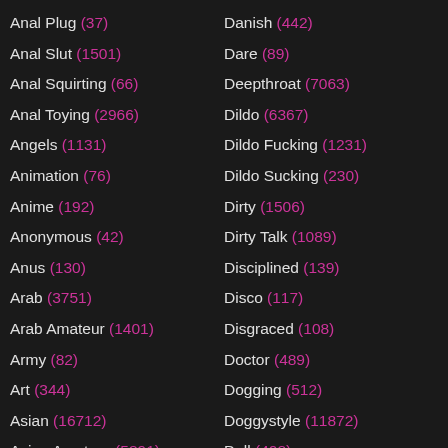Anal Plug (37)
Anal Slut (1501)
Anal Squirting (66)
Anal Toying (2966)
Angels (1131)
Animation (76)
Anime (192)
Anonymous (42)
Anus (130)
Arab (3751)
Arab Amateur (1401)
Army (82)
Art (344)
Asian (16712)
Asian Amateur (5891)
Asian Anal (1397)
Danish (442)
Dare (89)
Deepthroat (7063)
Dildo (6367)
Dildo Fucking (1231)
Dildo Sucking (230)
Dirty (1506)
Dirty Talk (1089)
Disciplined (139)
Disco (117)
Disgraced (108)
Doctor (489)
Dogging (512)
Doggystyle (11872)
Doll (408)
Domination (1569)